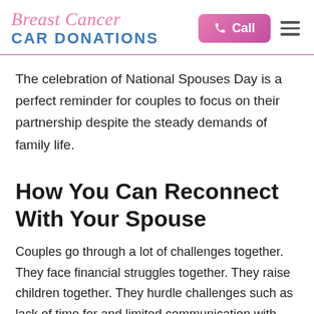Breast Cancer CAR DONATIONS
The celebration of National Spouses Day is a perfect reminder for couples to focus on their partnership despite the steady demands of family life.
How You Can Reconnect With Your Spouse
Couples go through a lot of challenges together. They face financial struggles together. They raise children together. They hurdle challenges such as lack of time for and limited communication with each other. These